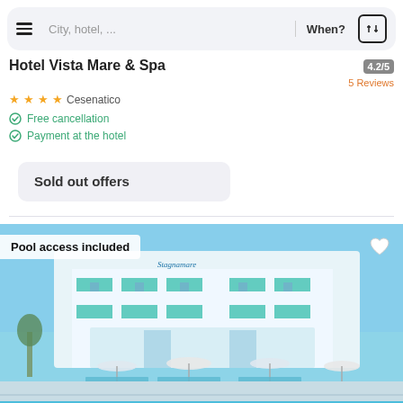City, hotel, ...  |  When?
Hotel Vista Mare & Spa
★★★★  Cesenatico   4.2/5   5 Reviews
Free cancellation
Payment at the hotel
Sold out offers
[Figure (photo): Exterior photo of Hotel Vista Mare & Spa with pool in foreground, featuring a white and teal multi-story building with balconies, beach umbrellas, and lounge chairs. Label overlay reads 'Pool access included'.]